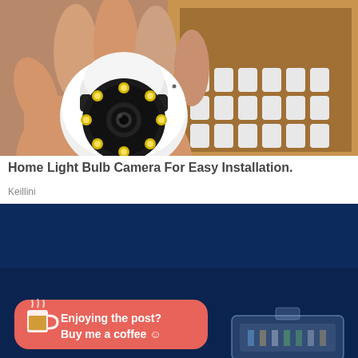[Figure (photo): A hand holding a small white PTZ security camera with multiple LED lights around the lens, viewed from above. In the background, a cardboard box with white foam packaging inserts is visible on a wooden surface.]
Home Light Bulb Camera For Easy Installation.
Keillini
[Figure (photo): A dark navy/blue background with what appears to be a clear plastic or glass object in the lower right portion of the image. An overlay banner with a coral/red background shows a coffee cup icon and text reading 'Enjoying the post? Buy me a coffee :)']